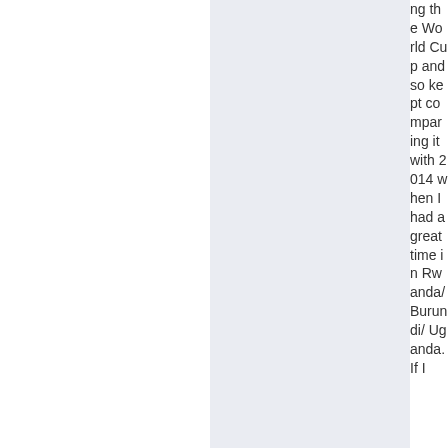the World Cup and so kept comparing it with 2014 when I had a great time in Rwanda/Burundi/Uganda. If I